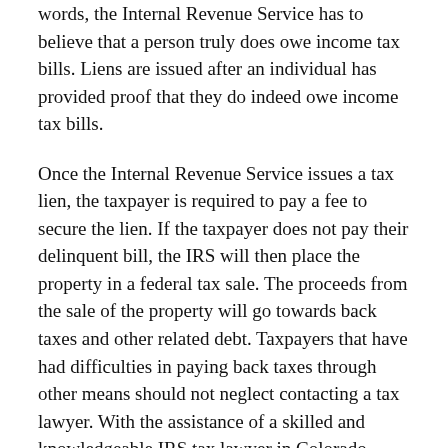words, the Internal Revenue Service has to believe that a person truly does owe income tax bills. Liens are issued after an individual has provided proof that they do indeed owe income tax bills.
Once the Internal Revenue Service issues a tax lien, the taxpayer is required to pay a fee to secure the lien. If the taxpayer does not pay their delinquent bill, the IRS will then place the property in a federal tax sale. The proceeds from the sale of the property will go towards back taxes and other related debt. Taxpayers that have had difficulties in paying back taxes through other means should not neglect contacting a tax lawyer. With the assistance of a skilled and knowledgeable IRS tax lawyer in Colorado Springs, a taxpayer will have increased chances of reducing their tax liability. Contacting a tax lawyer today can help taxpayers avoid the stress associated with mounting tax debts.